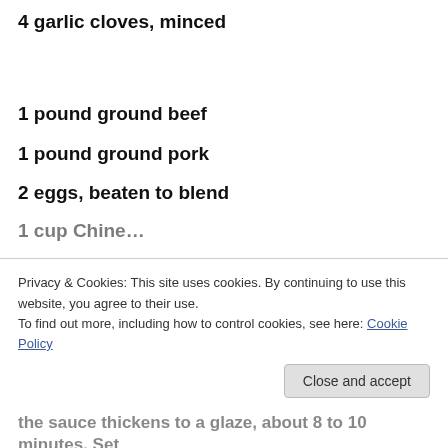4 garlic cloves, minced
1 pound ground beef
1 pound ground pork
2 eggs, beaten to blend
1 cup Chine…(partial, cut off)
Privacy & Cookies: This site uses cookies. By continuing to use this website, you agree to their use.
To find out more, including how to control cookies, see here: Cookie Policy
the sauce thickens to a glaze, about 8 to 10 minutes. Set